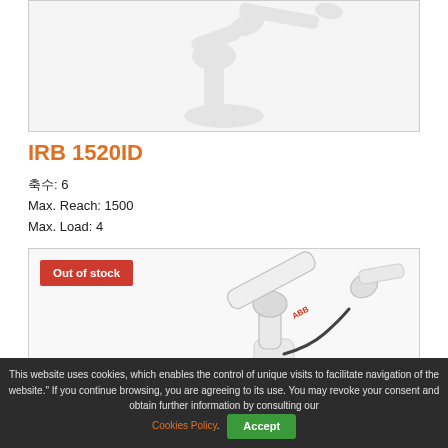[Figure (photo): Partial robot arm image at top, faded/light colored]
IRB 1520ID
축수: 6
Max. Reach: 1500
Max. Load: 4
[Figure (photo): ABB IRB robot arm, white, with red 'Out of stock' badge overlay]
This website uses cookies, which enables the control of unique visits to facilitate navigation of the website." If you continue browsing, you are agreeing to its use. You may revoke your consent and obtain further information by consulting our Cookies Policy. Accept